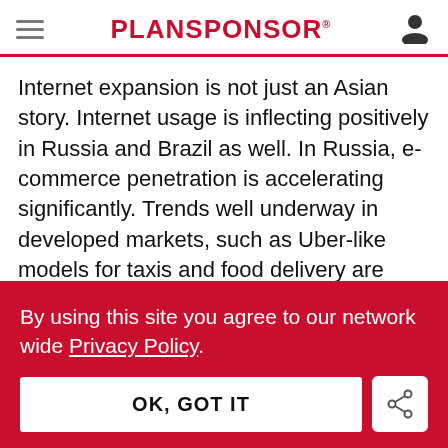PLANSPONSOR
Internet expansion is not just an Asian story. Internet usage is inflecting positively in Russia and Brazil as well. In Russia, e-commerce penetration is accelerating significantly. Trends well underway in developed markets, such as Uber-like models for taxis and food delivery are
By using this site you agree to our network wide Privacy Policy.
OK, GOT IT